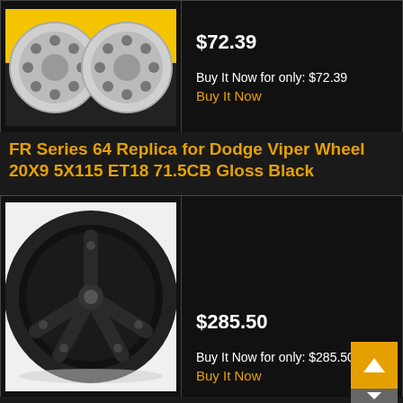[Figure (photo): Wheel spacers product photo — two silver circular wheel spacers on yellow/black background]
$72.39
Buy It Now for only: $72.39
Buy It Now
FR Series 64 Replica for Dodge Viper Wheel 20X9 5X115 ET18 71.5CB Gloss Black
[Figure (photo): Black gloss wheel — FR Series 64 Replica for Dodge Viper, 20X9 size, five-spoke design in gloss black finish]
$285.50
Buy It Now for only: $285.50
Buy It Now
4 silver wheel spacers silver 6x4.5 1/2" st 1" (25mm) for Dodge Viper Dakota